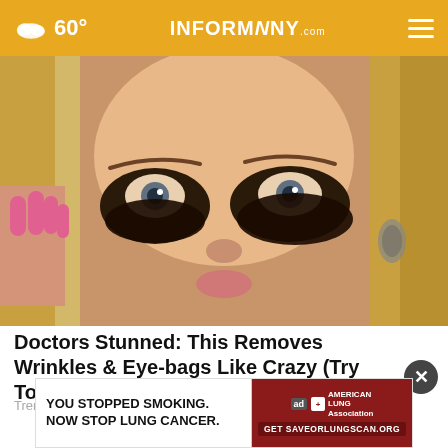60° INFORMNINY.com
[Figure (photo): Close-up photo of a blonde woman with dramatic dark eye makeup/coffee grounds under her eyes, touching her face with pink-nailed fingers, wearing a dangling earring.]
Doctors Stunned: This Removes Wrinkles & Eye-bags Like Crazy (Try Tonight)
Trending New Finds
[Figure (photo): Advertisement banner: 'YOU STOPPED SMOKING. NOW STOP LUNG CANCER.' with American Lung Association logo and Get SAVEORLUNGSCAN.ORG call to action on red background.]